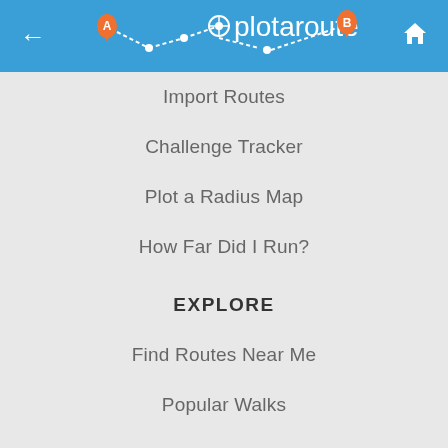plotaroute.com
Import Routes
Challenge Tracker
Plot a Radius Map
How Far Did I Run?
EXPLORE
Find Routes Near Me
Popular Walks
Popular Running Routes
Popular Bike Routes
Hilly Cycle Rides
5K Running Routes